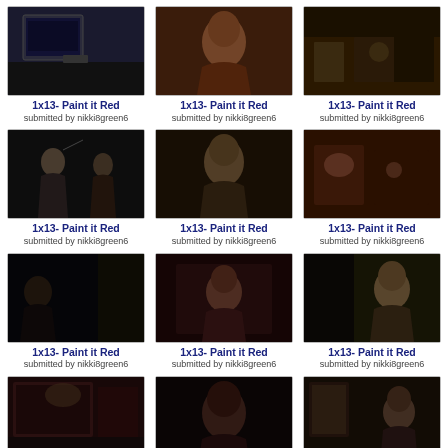[Figure (photo): TV screenshot - dark scene with monitor/screen]
1x13- Paint it Red
submitted by nikki8green6
[Figure (photo): TV screenshot - woman smiling, warm tones]
1x13- Paint it Red
submitted by nikki8green6
[Figure (photo): TV screenshot - people at table, dim lighting]
1x13- Paint it Red
submitted by nikki8green6
[Figure (photo): TV screenshot - two people in dark room]
1x13- Paint it Red
submitted by nikki8green6
[Figure (photo): TV screenshot - man with light hair close-up]
1x13- Paint it Red
submitted by nikki8green6
[Figure (photo): TV screenshot - bar/restaurant crowded scene]
1x13- Paint it Red
submitted by nikki8green6
[Figure (photo): TV screenshot - dark window/outdoor scene]
1x13- Paint it Red
submitted by nikki8green6
[Figure (photo): TV screenshot - people sitting at lounge]
1x13- Paint it Red
submitted by nikki8green6
[Figure (photo): TV screenshot - man looking down, side view]
1x13- Paint it Red
submitted by nikki8green6
[Figure (photo): TV screenshot - artwork on wall, person in hallway]
1x13- Paint it Red
submitted by nikki8green6
[Figure (photo): TV screenshot - dark-haired woman portrait]
1x13- Paint it Red
submitted by nikki8green6
[Figure (photo): TV screenshot - person from behind, portrait on wall]
1x13- Paint it Red
submitted by nikki8green6
[Figure (photo): TV screenshot - two people seated, bottom row partial]
[Figure (photo): TV screenshot - two people standing, bottom row partial]
[Figure (photo): TV screenshot - man looking forward, bottom row partial]